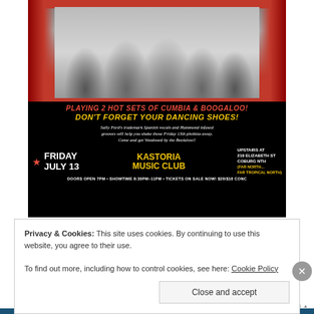[Figure (photo): Event poster for Sally Ford's band performing Cumbia and Boogaloo at Kastoria Music Club. Shows 5 band members posed against red curtain backdrop, with bold text advertising the event details: Friday July 13, Kastoria Music Club, upstairs at 219 Elizabeth St Coburg Nth. Doors open 7pm, Showtime 8:30pm-11pm, Tickets $20/$18 conc.]
Privacy & Cookies: This site uses cookies. By continuing to use this website, you agree to their use.
To find out more, including how to control cookies, see here: Cookie Policy
Close and accept